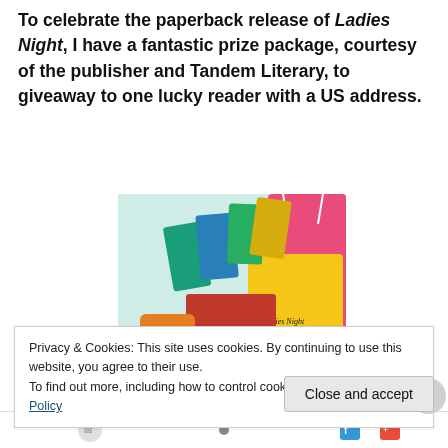To celebrate the paperback release of Ladies Night, I have a fantastic prize package, courtesy of the publisher and Tandem Literary, to giveaway to one lucky reader with a US address.
[Figure (photo): Photo of a prize package featuring a Mary Kay Andrews 'Ladies Night' book and promotional items in a yellow gift bag alongside other colorful bags and accessories.]
Privacy & Cookies: This site uses cookies. By continuing to use this website, you agree to their use.
To find out more, including how to control cookies, see here: Cookie Policy